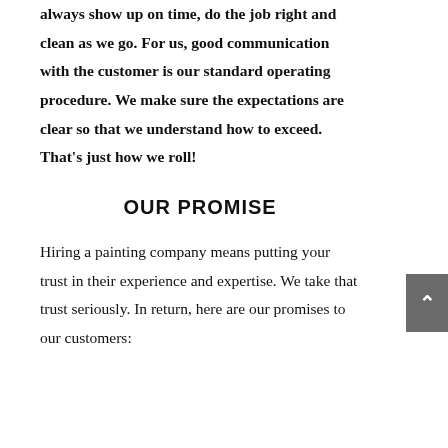always show up on time, do the job right and clean as we go. For us, good communication with the customer is our standard operating procedure. We make sure the expectations are clear so that we understand how to exceed. That's just how we roll!
OUR PROMISE
Hiring a painting company means putting your trust in their experience and expertise. We take that trust seriously. In return, here are our promises to our customers: